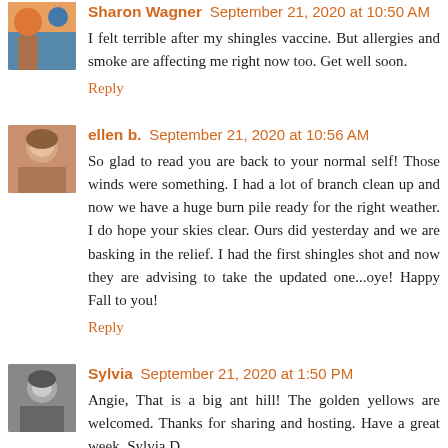Sharon Wagner September 21, 2020 at 10:50 AM
I felt terrible after my shingles vaccine. But allergies and smoke are affecting me right now too. Get well soon.
Reply
ellen b. September 21, 2020 at 10:56 AM
So glad to read you are back to your normal self! Those winds were something. I had a lot of branch clean up and now we have a huge burn pile ready for the right weather. I do hope your skies clear. Ours did yesterday and we are basking in the relief. I had the first shingles shot and now they are advising to take the updated one...oye! Happy Fall to you!
Reply
Sylvia September 21, 2020 at 1:50 PM
Angie, That is a big ant hill! The golden yellows are welcomed. Thanks for sharing and hosting. Have a great week, Sylvia D.